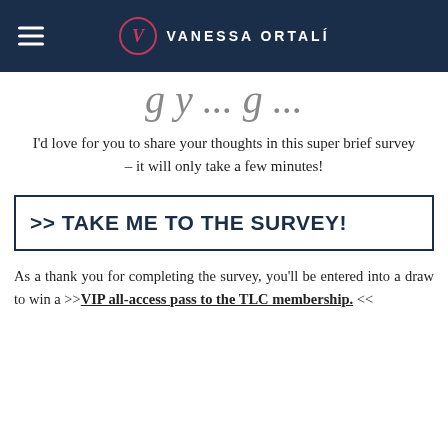VANESSA ORTALÍ
g y ... g ...
I'd love for you to share your thoughts in this super brief survey – it will only take a few minutes!
>> TAKE ME TO THE SURVEY!
As a thank you for completing the survey, you'll be entered into a draw to win a >>VIP all-access pass to the TLC membership. <<